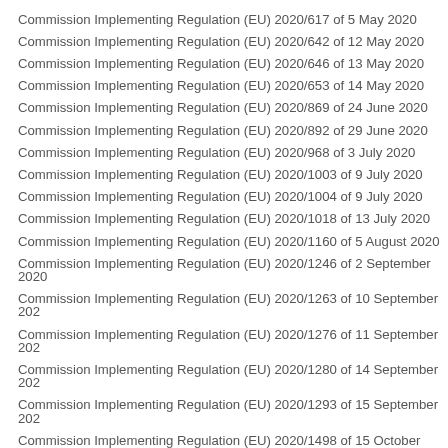Commission Implementing Regulation (EU) 2020/617 of 5 May 2020
Commission Implementing Regulation (EU) 2020/642 of 12 May 2020
Commission Implementing Regulation (EU) 2020/646 of 13 May 2020
Commission Implementing Regulation (EU) 2020/653 of 14 May 2020
Commission Implementing Regulation (EU) 2020/869 of 24 June 2020
Commission Implementing Regulation (EU) 2020/892 of 29 June 2020
Commission Implementing Regulation (EU) 2020/968 of 3 July 2020
Commission Implementing Regulation (EU) 2020/1003 of 9 July 2020
Commission Implementing Regulation (EU) 2020/1004 of 9 July 2020
Commission Implementing Regulation (EU) 2020/1018 of 13 July 2020
Commission Implementing Regulation (EU) 2020/1160 of 5 August 2020
Commission Implementing Regulation (EU) 2020/1246 of 2 September 2020
Commission Implementing Regulation (EU) 2020/1263 of 10 September 202
Commission Implementing Regulation (EU) 2020/1276 of 11 September 202
Commission Implementing Regulation (EU) 2020/1280 of 14 September 202
Commission Implementing Regulation (EU) 2020/1293 of 15 September 202
Commission Implementing Regulation (EU) 2020/1498 of 15 October 2020